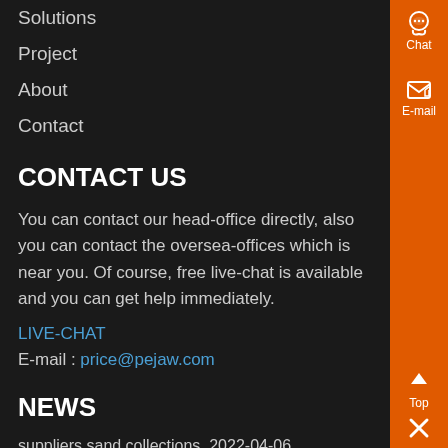Solutions
Project
About
Contact
CONTACT US
You can contact our head-office directly, also you can contact the oversea-offices which is near you. Of course, free live-chat is available and you can get help immediately.
LIVE-CHAT
E-mail : price@pejaw.com
NEWS
suppliers sand collections  2022-04-06